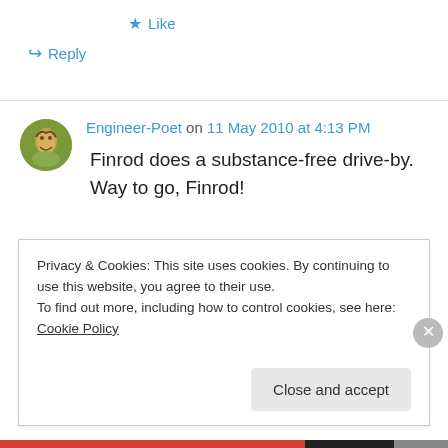★ Like
↪ Reply
Engineer-Poet on 11 May 2010 at 4:13 PM
Finrod does a substance-free drive-by.  Way to go, Finrod!
Privacy & Cookies: This site uses cookies. By continuing to use this website, you agree to their use.
To find out more, including how to control cookies, see here: Cookie Policy